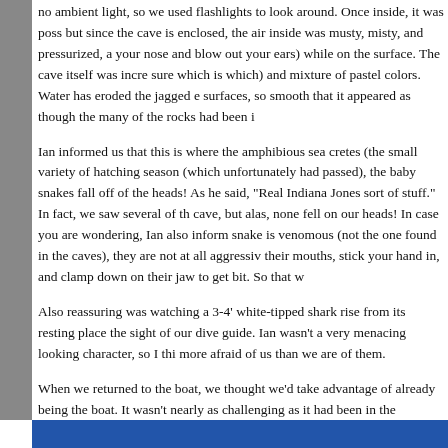no ambient light, so we used flashlights to look around. Once inside, it was possible to stand, but since the cave is enclosed, the air inside was musty, misty, and pressurized, so you could hold your nose and blow out your ears) while on the surface. The cave itself was incredible (not sure which is which) and mixture of pastel colors. Water has eroded the jagged edges off the surfaces, so smooth that it appeared as though the many of the rocks had been i
Ian informed us that this is where the amphibious sea cretes (the small variety of hatching season (which unfortunately had passed), the baby snakes fall off of the heads! As he said, "Real Indiana Jones sort of stuff." In fact, we saw several of the cave, but alas, none fell on our heads! In case you are wondering, Ian also inform snake is venomous (not the one found in the caves), they are not at all aggressive their mouths, stick your hand in, and clamp down on their jaw to get bit. So that w
Also reassuring was watching a 3-4' white-tipped shark rise from its resting place the sight of our dive guide. Ian wasn't a very menacing looking character, so I thi more afraid of us than we are of them.
When we returned to the boat, we thought we'd take advantage of already being the boat. It wasn't nearly as challenging as it had been in the Tuamotus (i.e., gree were still surprised at the amount of growth, especially since our friend Paul on S was first painted back when ours was, and he has no growth at all. More evidenc bottom paint. While cleaning, Dallas and I have had a chance to watch out for int a spotted eagle ray, which apparently are rare. Instead of having eyes in the back seen, this one had a head that protruded from its diamond-shaped body. Dallas a
Dallas and I took it easy on the boat on Saturday, while Wes and Tiff spent a sec island via motorcycle. They took several great photos along the way; here are jus